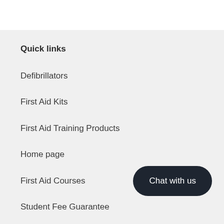Quick links
Defibrillators
First Aid Kits
First Aid Training Products
Home page
First Aid Courses
Student Fee Guarantee